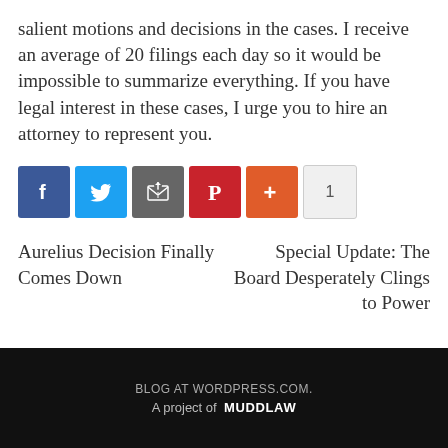salient motions and decisions in the cases. I receive an average of 20 filings each day so it would be impossible to summarize everything. If you have legal interest in these cases, I urge you to hire an attorney to represent you.
[Figure (infographic): Social sharing buttons row: Facebook (blue), Twitter (blue), Email (grey), Pinterest (red), More/plus (orange-red), and a count badge showing 1]
Aurelius Decision Finally Comes Down    Special Update: The Board Desperately Clings to Power
BLOG AT WORDPRESS.COM. A project of MUDDLAW